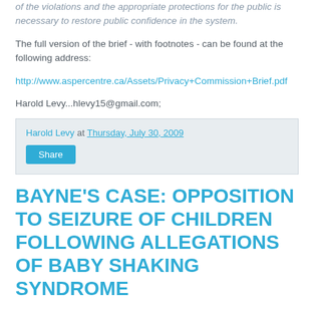of the violations and the appropriate protections for the public is necessary to restore public confidence in the system.
The full version of the brief - with footnotes - can be found at the following address:
http://www.aspercentre.ca/Assets/Privacy+Commission+Brief.pdf
Harold Levy...hlevy15@gmail.com;
Harold Levy at Thursday, July 30, 2009 Share
BAYNE'S CASE: OPPOSITION TO SEIZURE OF CHILDREN FOLLOWING ALLEGATIONS OF BABY SHAKING SYNDROME